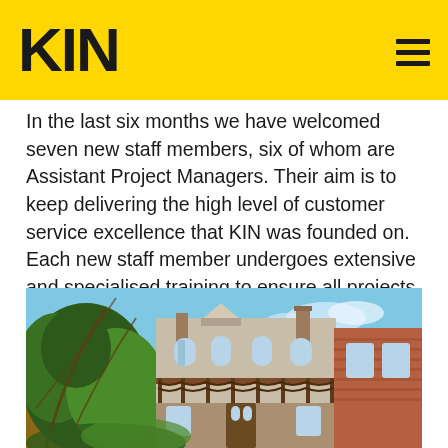KIN
In the last six months we have welcomed seven new staff members, six of whom are Assistant Project Managers. Their aim is to keep delivering the high level of customer service excellence that KIN was founded on. Each new staff member undergoes extensive and specialised training to ensure all projects and clients are handled with supreme care and professionalism.
[Figure (photo): Exterior photograph of a Victorian-style terrace house with ornate ironwork balcony, brick facade, and lush green vegetation in the foreground against a blue sky.]